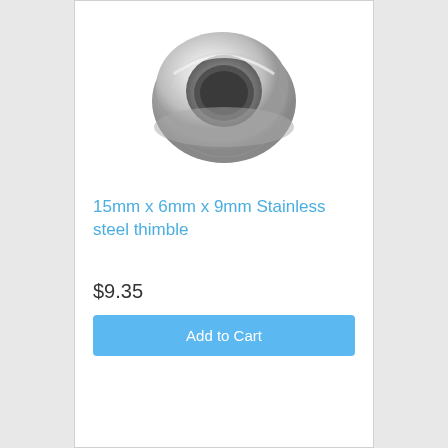[Figure (photo): A stainless steel thimble viewed from above, showing a circular ring shape with a hollow center, metallic silver finish with reflective surfaces.]
15mm x 6mm x 9mm Stainless steel thimble
$9.35
Add to Cart